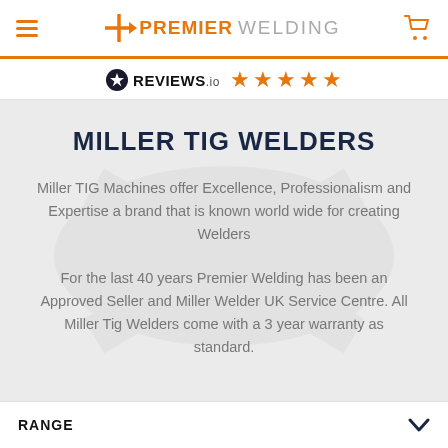Premier Welding
[Figure (logo): REVIEWS.io logo with 5 orange stars rating]
MILLER TIG WELDERS
Miller TIG Machines offer Excellence, Professionalism and Expertise a brand that is known world wide for creating Welders
For the last 40 years Premier Welding has been an Approved Seller and Miller Welder UK Service Centre. All Miller Tig Welders come with a 3 year warranty as standard.
RANGE